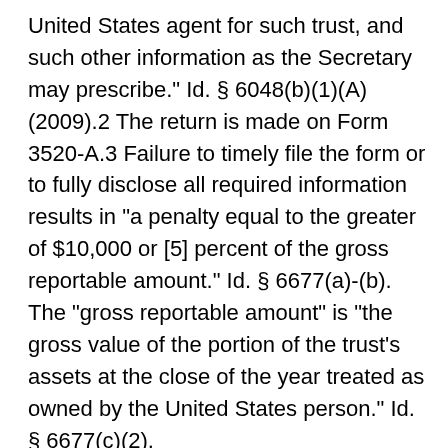United States agent for such trust, and such other information as the Secretary may prescribe." Id. § 6048(b)(1)(A) (2009).2 The return is made on Form 3520-A.3 Failure to timely file the form or to fully disclose all required information results in "a penalty equal to the greater of $10,000 or [5] percent of the gross reportable amount." Id. § 6677(a)-(b). The "gross reportable amount" is "the gross value of the portion of the trust's assets at the close of the year treated as owned by the United States person." Id. § 6677(c)(2).
B. Rebold was a U.S. citizen who worked